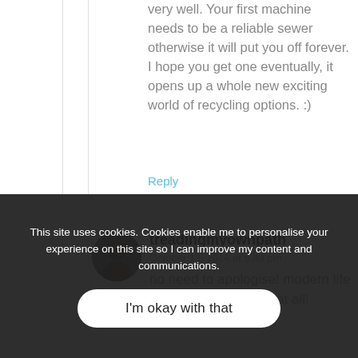very well. Your first machine needs to be a reliable sewer otherwise it will put you off forever. I hope you get one eventually, it opens up a whole new exciting world of recycling options. :)
Reply
treadingmyownpath
October 13, 2014 at 8:49 pm
no need to apologise! modern life doesn't make it easy at all!
This site uses cookies. Cookies enable me to personalise your experience on this site so I can improve my content and communications.
I'm okay with that